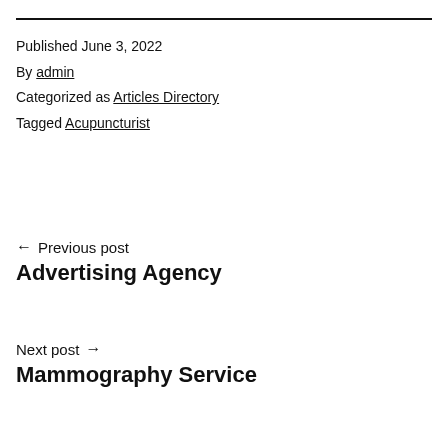Published June 3, 2022
By admin
Categorized as Articles Directory
Tagged Acupuncturist
← Previous post
Advertising Agency
Next post →
Mammography Service